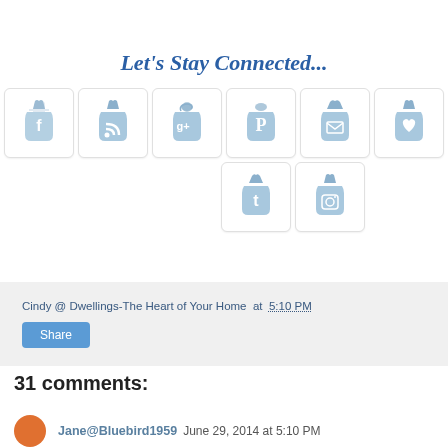Let's Stay Connected...
[Figure (illustration): Eight social media icon bags in two rows: Facebook, RSS, Google+, Pinterest, Email, Heart/Bloglovin, Twitter, Instagram — all styled as light blue denim bags with white social media symbols]
Cindy @ Dwellings-The Heart of Your Home at 5:10 PM
Share
31 comments:
Jane@Bluebird1959  June 29, 2014 at 5:10 PM